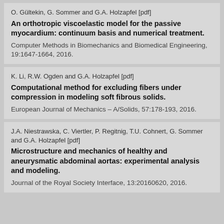O. Gültekin, G. Sommer and G.A. Holzapfel [pdf] An orthotropic viscoelastic model for the passive myocardium: continuum basis and numerical treatment. Computer Methods in Biomechanics and Biomedical Engineering, 19:1647-1664, 2016.
K. Li, R.W. Ogden and G.A. Holzapfel [pdf] Computational method for excluding fibers under compression in modeling soft fibrous solids. European Journal of Mechanics – A/Solids, 57:178-193, 2016.
J.A. Niestrawska, C. Viertler, P. Regitnig, T.U. Cohnert, G. Sommer and G.A. Holzapfel [pdf] Microstructure and mechanics of healthy and aneurysmatic abdominal aortas: experimental analysis and modeling. Journal of the Royal Society Interface, 13:20160620, 2016.